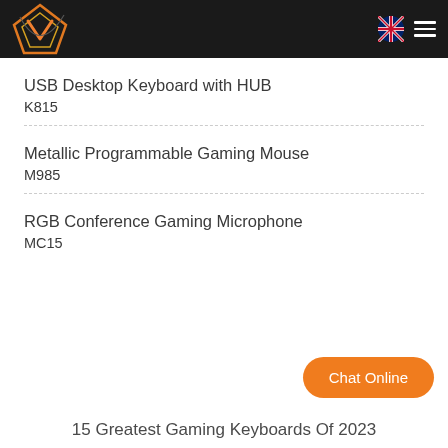[Figure (logo): Orange and gold geometric gaming logo (diamond/arrow shape) on dark background, with navigation icons (UK flag and hamburger menu) on the right]
USB Desktop Keyboard with HUB
K815
Metallic Programmable Gaming Mouse
M985
RGB Conference Gaming Microphone
MC15
15 Greatest Gaming Keyboards Of 2023